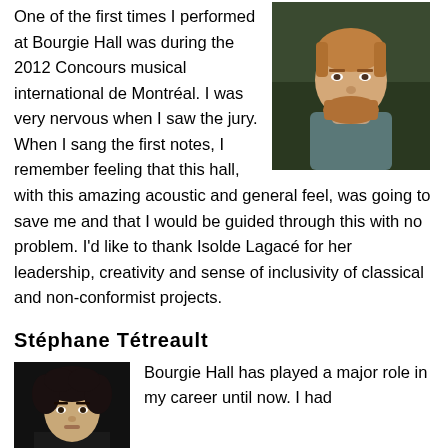One of the first times I performed at Bourgie Hall was during the 2012 Concours musical international de Montréal. I was very nervous when I saw the jury. When I sang the first notes, I remember feeling that this hall, with this amazing acoustic and general feel, was going to save me and that I would be guided through this with no problem. I'd like to thank Isolde Lagacé for her leadership, creativity and sense of inclusivity of classical and non-conformist projects.
[Figure (photo): Portrait photo of a bearded man with reddish-brown beard, wearing a teal/blue turtleneck sweater, photographed against a dark green/forest background]
Stéphane Tétreault
[Figure (photo): Portrait photo of a young man with dark curly hair against a dark background]
Bourgie Hall has played a major role in my career until now. I had